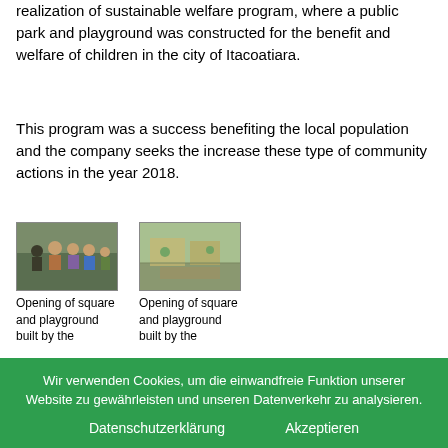realization of sustainable welfare program, where a public park and playground was constructed for the benefit and welfare of children in the city of Itacoatiara.
This program was a success benefiting the local population and the company seeks the increase these type of community actions in the year 2018.
[Figure (photo): Group of people at the opening of square and playground]
Opening of square and playground built by the
[Figure (photo): Aerial/overview view of square and playground construction]
Opening of square and playground built by the
Wir verwenden Cookies, um die einwandfreie Funktion unserer Website zu gewährleisten und unseren Datenverkehr zu analysieren.
Datenschutzerklärung    Akzeptieren